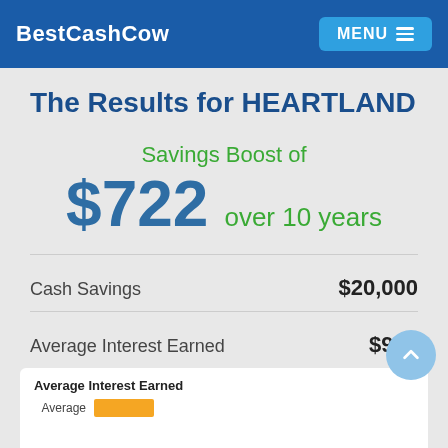BestCashCow  MENU
The Results for HEARTLAND
Savings Boost of
$722 over 10 years
Cash Savings  $20,000
Average Interest Earned  $912
[Figure (bar-chart): Average Interest Earned]